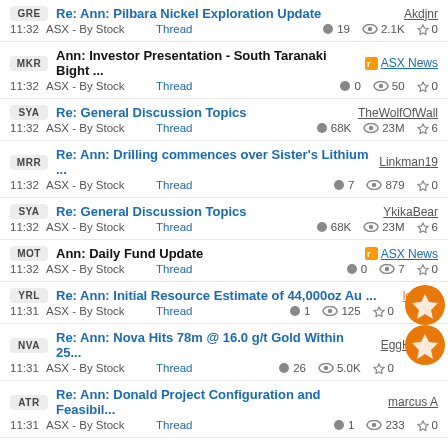GRE | Re: Ann: Pilbara Nickel Exploration Update | Akdjnr | 11:32 | ASX - By Stock | Thread | 19 | 2.1K | 0
MKR | Ann: Investor Presentation - South Taranaki Bight ... | ASX News | 11:32 | ASX - By Stock | Thread | 0 | 50 | 0
SYA | Re: General Discussion Topics | TheWolfOfWall | 11:32 | ASX - By Stock | Thread | 68K | 23M | 6
MRR | Re: Ann: Drilling commences over Sister's Lithium ... | Linkman19 | 11:32 | ASX - By Stock | Thread | 7 | 879 | 0
SYA | Re: General Discussion Topics | YkikaBear | 11:32 | ASX - By Stock | Thread | 68K | 23M | 6
MOT | Ann: Daily Fund Update | ASX News | 11:32 | ASX - By Stock | Thread | 0 | 7 | 0
YRL | Re: Ann: Initial Resource Estimate of 44,000oz Au ... | lenovo | 11:31 | ASX - By Stock | Thread | 1 | 125 | 0
NVA | Re: Ann: Nova Hits 78m @ 16.0 g/t Gold Within 25... | EggHunter | 11:31 | ASX - By Stock | Thread | 26 | 5.0K | 0
ATR | Re: Ann: Donald Project Configuration and Feasibil... | marcus A | 11:31 | ASX - By Stock | Thread | 1 | 233 | 0